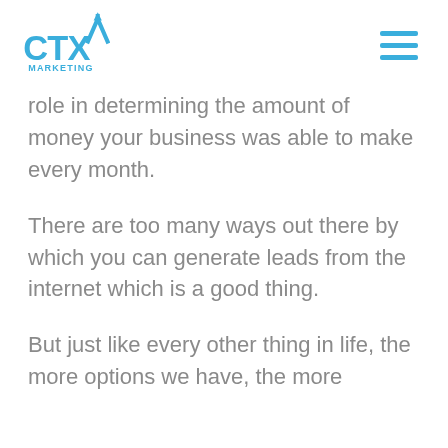CTX Marketing logo and navigation menu
role in determining the amount of money your business was able to make every month.
There are too many ways out there by which you can generate leads from the internet which is a good thing.
But just like every other thing in life, the more options we have, the more